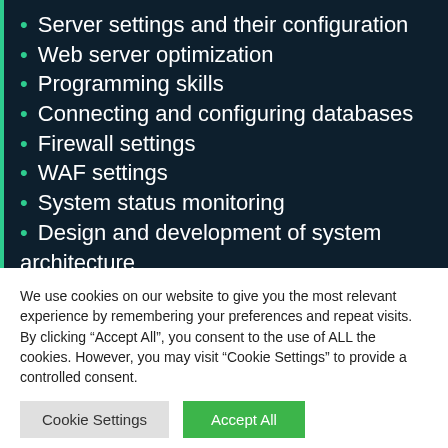Server settings and their configuration
Web server optimization
Programming skills
Connecting and configuring databases
Firewall settings
WAF settings
System status monitoring
Design and development of system architecture
Deployment of automation solutions for business
We use cookies on our website to give you the most relevant experience by remembering your preferences and repeat visits. By clicking “Accept All”, you consent to the use of ALL the cookies. However, you may visit “Cookie Settings” to provide a controlled consent.